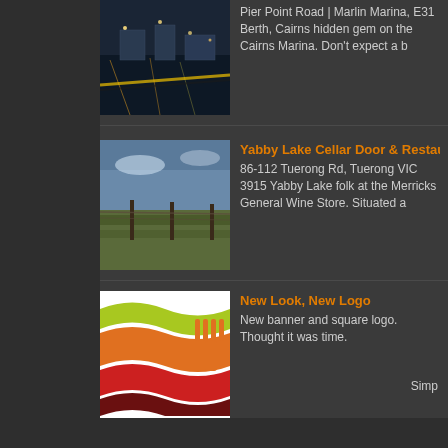[Figure (photo): Marina at night with lights reflecting on water, partially cropped at top]
Pier Point Road | Marlin Marina, E31 Berth, Cairns hidden gem on the Cairns Marina. Don't expect a b
[Figure (photo): Rural field with fence posts under a blue sky, Yabby Lake restaurant]
Yabby Lake Cellar Door & Restaurant
86-112 Tuerong Rd,  Tuerong VIC 3915 Yabby Lake folk at the Merricks General Wine Store. Situated a
[Figure (logo): Logo with green, orange, and red wave stripes with a fork, text 'out of my kitchen' in blue script]
New Look, New Logo
New banner and square logo. Thought it was time.
Simp